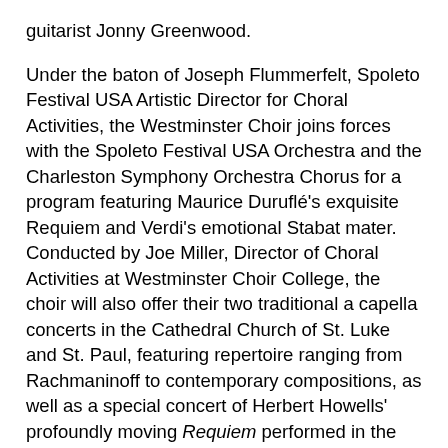guitarist Jonny Greenwood.
Under the baton of Joseph Flummerfelt, Spoleto Festival USA Artistic Director for Choral Activities, the Westminster Choir joins forces with the Spoleto Festival USA Orchestra and the Charleston Symphony Orchestra Chorus for a program featuring Maurice Duruflé's exquisite Requiem and Verdi's emotional Stabat mater. Conducted by Joe Miller, Director of Choral Activities at Westminster Choir College, the choir will also offer their two traditional a capella concerts in the Cathedral Church of St. Luke and St. Paul, featuring repertoire ranging from Rachmaninoff to contemporary compositions, as well as a special concert of Herbert Howells' profoundly moving Requiem performed in the Cathedral of St. John the Baptist.
Emphasizing the Festival's multi-disciplinary approach to artistic programming, musical offerings at the 2012 Festival feature established artists performing alongside emerging talents, all of whom push genre boundaries and embrace myriad styles. Four-time Grammy Award winner k.d. lang, who makes her Festival debut with the Siss Boom Bang band, is recognized for a